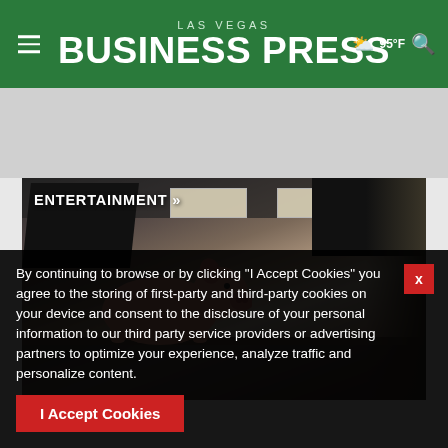LAS VEGAS BUSINESS PRESS  95°F
[Figure (photo): Restaurant interior scene with a pig standing on a counter, dark monitors visible, ceiling lights, and a cashier area in the background]
ENTERTAINMENT >>
By continuing to browse or by clicking "I Accept Cookies" you agree to the storing of first-party and third-party cookies on your device and consent to the disclosure of your personal information to our third party service providers or advertising partners to optimize your experience, analyze traffic and personalize content.
I Accept Cookies